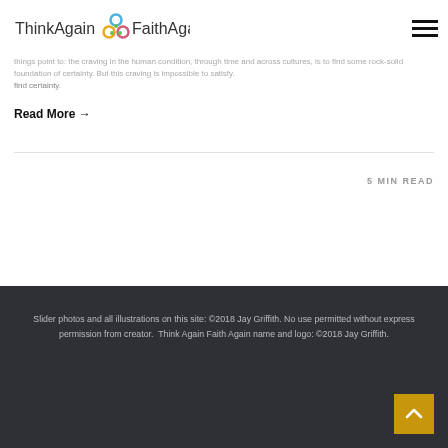ThinkAgain FaithAgain
things point to: there is no alternative to vulnerability.
things point to: the craving in the human condition, through time and across cultures, is to find some rock-solid foundation of certainty. But this craving is impossible to satisfy.
Read More →
5 MIN READ
Slider photos and all illustrations on this site: ©2018 Jay Griffith. No use permitted without express permission from creator.  Think Again Faith Again name and logo: ©2018 Jay Griffith.